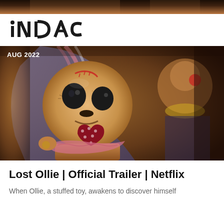[Figure (photo): Dark warm-toned top banner strip showing part of a scene]
iNDAC
[Figure (photo): Photo of animated stuffed toy character 'Ollie' from Netflix series Lost Ollie, a yellow-tan felt doll with large black button eyes, red stitching on forehead, wearing a pink hood and holding a red polka-dot heart patch. Date label 'AUG 2022' overlaid top-left. Another toy character visible in blurred background on right.]
Lost Ollie | Official Trailer | Netflix
When Ollie, a stuffed toy, awakens to discover himself